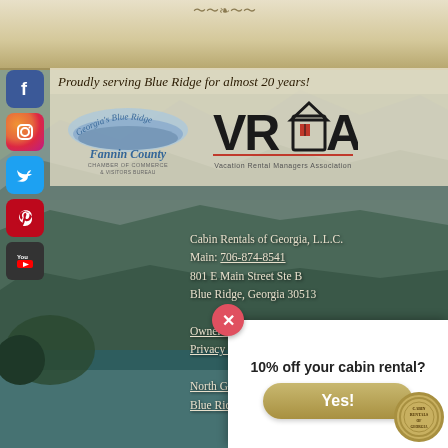[Figure (photo): Background mountain landscape with green forested hills and misty blue ridges, with teal/blue-green foreground texture at the bottom]
Proudly serving Blue Ridge for almost 20 years!
[Figure (logo): Georgia's Blue Ridge Fannin County Chamber of Commerce & Visitors Bureau logo]
[Figure (logo): VRMA Vacation Rental Managers Association logo]
Cabin Rentals of Georgia, L.L.C.
Main: 706-874-8541
801 E Main Street Ste B
Blue Ridge, Georgia 30513
Owner Login
Privacy Policy
North Georgia Cabin Rentals
Blue Ridge Cabin Rentals
10% off your cabin rental?
Yes!